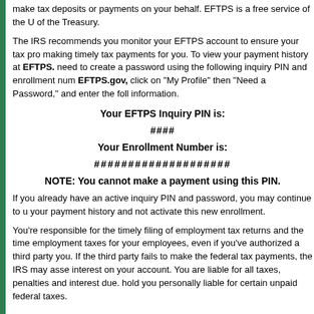make tax deposits or payments on your behalf. EFTPS is a free service of the U of the Treasury.
The IRS recommends you monitor your EFTPS account to ensure your tax pro making timely tax payments for you. To view your payment history at EFTPS. need to create a password using the following inquiry PIN and enrollment num EFTPS.gov, click on "My Profile" then "Need a Password," and enter the foll information.
Your EFTPS Inquiry PIN is:
####
Your Enrollment Number is:
####################
NOTE: You cannot make a payment using this PIN.
If you already have an active inquiry PIN and password, you may continue to u your payment history and not activate this new enrollment.
You’re responsible for the timely filing of employment tax returns and the time employment taxes for your employees, even if you’ve authorized a third party you. If the third party fails to make the federal tax payments, the IRS may asse interest on your account. You are liable for all taxes, penalties and interest due. hold you personally liable for certain unpaid federal taxes.